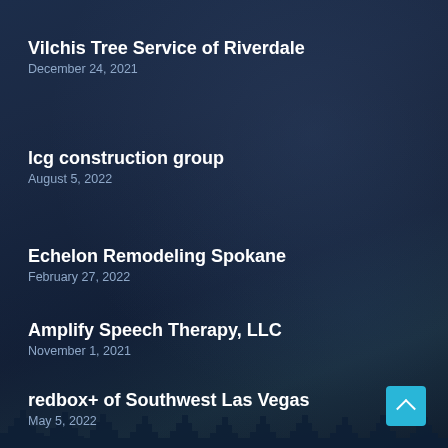Vilchis Tree Service of Riverdale
December 24, 2021
lcg construction group
August 5, 2022
Echelon Remodeling Spokane
February 27, 2022
Amplify Speech Therapy, LLC
November 1, 2021
redbox+ of Southwest Las Vegas
May 5, 2022